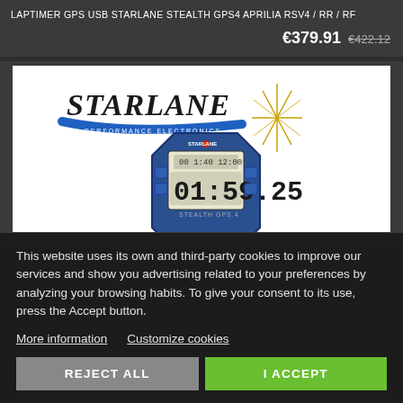LAPTIMER GPS USB STARLANE STEALTH GPS4 APRILIA RSV4 / RR / RF
€379.91  €422.12
[Figure (photo): Starlane Stealth GPS4 lap timer device showing digital display with time 01:59.25, blue body with buttons, red LED indicator, Starlane logo in top left]
This website uses its own and third-party cookies to improve our services and show you advertising related to your preferences by analyzing your browsing habits. To give your consent to its use, press the Accept button.
More information   Customize cookies
REJECT ALL
I ACCEPT